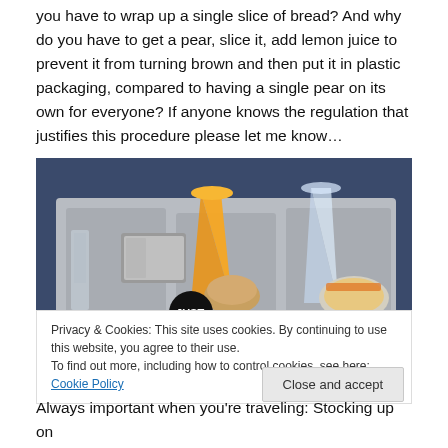you have to wrap up a single slice of bread? And why do you have to get a pear, slice it, add lemon juice to prevent it from turning brown and then put it in plastic packaging, compared to having a single pear on its own for everyone? If anyone knows the regulation that justifies this procedure please let me know…
[Figure (photo): An airline meal tray with a glass of orange juice, a glass of water, a wrapped item in foil, a bread roll, a small dish with food, and a JUST brand item on a gray tray table.]
Privacy & Cookies: This site uses cookies. By continuing to use this website, you agree to their use.
To find out more, including how to control cookies, see here: Cookie Policy
Always important when you're traveling: Stocking up on